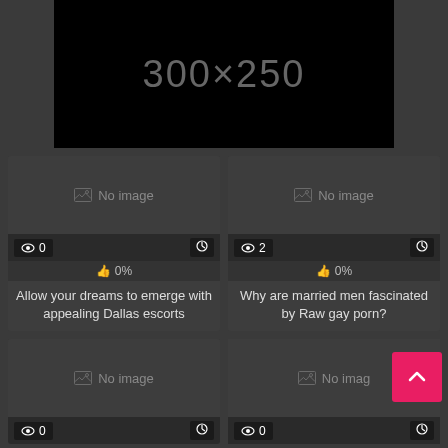[Figure (screenshot): Black advertisement banner placeholder showing '300×250' text in gray]
[Figure (screenshot): Content card: No image placeholder, 0 views, 0%, title: Allow your dreams to emerge with appealing Dallas escorts]
Allow your dreams to emerge with appealing Dallas escorts
[Figure (screenshot): Content card: No image placeholder, 2 views, 0%, title: Why are married men fascinated by Raw gay porn?]
Why are married men fascinated by Raw gay porn?
[Figure (screenshot): Content card: No image placeholder, 0 views]
[Figure (screenshot): Content card: No image placeholder, 0 views, with back-to-top pink button overlay]